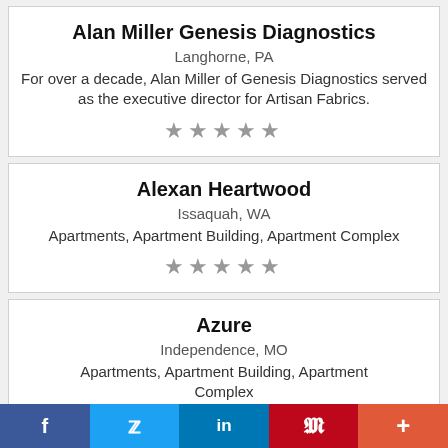Alan Miller Genesis Diagnostics
Langhorne, PA
For over a decade, Alan Miller of Genesis Diagnostics served as the executive director for Artisan Fabrics.
[Figure (other): 5 star rating (grey stars)]
Alexan Heartwood
Issaquah, WA
Apartments, Apartment Building, Apartment Complex
[Figure (other): 5 star rating (grey stars)]
Azure
Independence, MO
Apartments, Apartment Building, Apartment Complex
f  (Twitter bird)  in  P  +